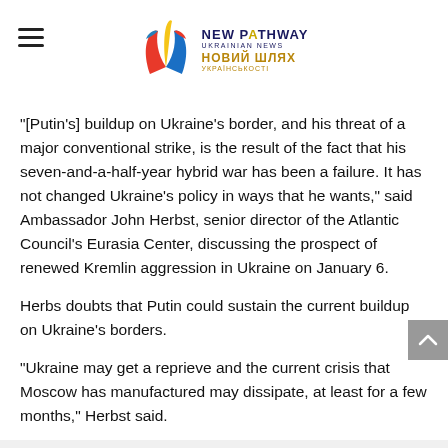NEW PATHWAY UKRAINIAN NEWS НОВИЙ ШЛЯХ УКРАЇНСЬКОСТІ
“[Putin’s] buildup on Ukraine’s border, and his threat of a major conventional strike, is the result of the fact that his seven-and-a-half-year hybrid war has been a failure. It has not changed Ukraine’s policy in ways that he wants,” said Ambassador John Herbst, senior director of the Atlantic Council’s Eurasia Center, discussing the prospect of renewed Kremlin aggression in Ukraine on January 6.
Herbs doubts that Putin could sustain the current buildup on Ukraine’s borders.
“Ukraine may get a reprieve and the current crisis that Moscow has manufactured may dissipate, at least for a few months,” Herbst said.